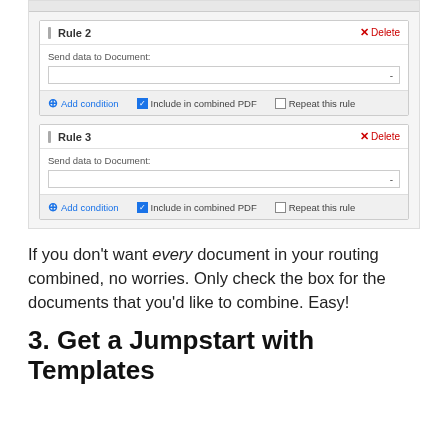[Figure (screenshot): UI screenshot showing Rule 2 and Rule 3 blocks, each with 'Send data to Document:' dropdown, 'Add condition' link, 'Include in combined PDF' checked checkbox, and 'Repeat this rule' unchecked checkbox. Top of screenshot is clipped.]
If you don't want every document in your routing combined, no worries. Only check the box for the documents that you'd like to combine. Easy!
3. Get a Jumpstart with Templates